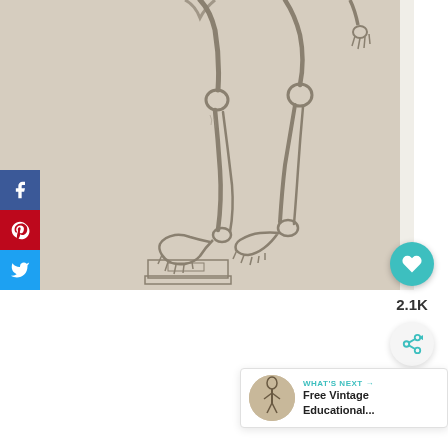[Figure (illustration): Vintage anatomical pencil sketch of a primate or human skeleton from the lower body/legs region, showing bones of legs, knees, ankles, and feet in grayscale on beige/tan paper. One leg is raised on a small pedestal block.]
[Figure (infographic): Social media sharing sidebar with three buttons: Facebook (blue with f icon), Pinterest (red with pin icon), Twitter (light blue with bird icon)]
[Figure (infographic): Teal circular heart/like button showing a heart icon]
2.1K
[Figure (infographic): Share button circle with share/network icon]
[Figure (infographic): What's Next banner with thumbnail of a vintage anatomical figure illustration and text: WHAT'S NEXT → Free Vintage Educational...]